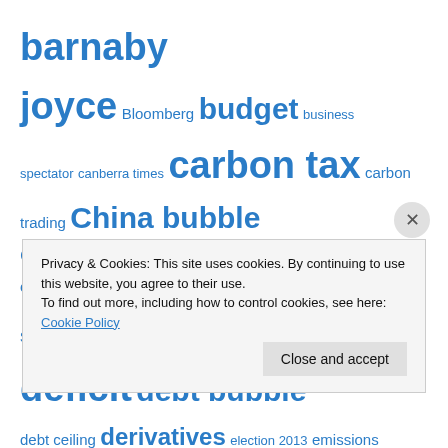[Figure (infographic): Tag cloud with blue hyperlinked terms of varying sizes related to economics, finance, and Australian politics. Terms include: barnaby joyce, Bloomberg, budget, business spectator, canberra times, carbon tax, carbon trading, China bubble, China Miracle, clean energy future, climate change, Commonwealth securities, cprs, cyprus, debt, debt and deficit, debt bubble, debt ceiling, derivatives, election 2013, emissions trading, endogenous money, ets, Eurozone, federal reserve, FHBG, FHOB, fractional reserve banking, GFC, glenn stevens, global warming, Goldman Sachs, government bonds, greek debt crisis, greens]
Privacy & Cookies: This site uses cookies. By continuing to use this website, you agree to their use.
To find out more, including how to control cookies, see here: Cookie Policy